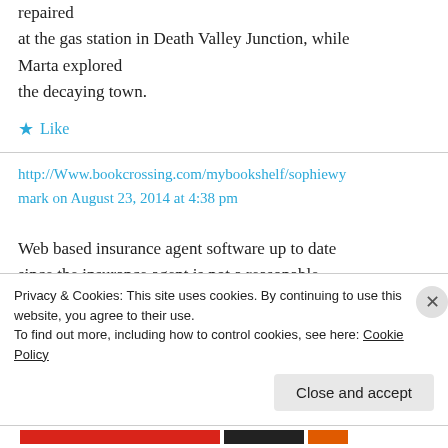repaired at the gas station in Death Valley Junction, while Marta explored the decaying town.
★ Like
http://Www.bookcrossing.com/mybookshelf/sophiewymark on August 23, 2014 at 4:38 pm
Web based insurance agent software up to date since the insurance agent is not a reasonable
Privacy & Cookies: This site uses cookies. By continuing to use this website, you agree to their use.
To find out more, including how to control cookies, see here: Cookie Policy
Close and accept